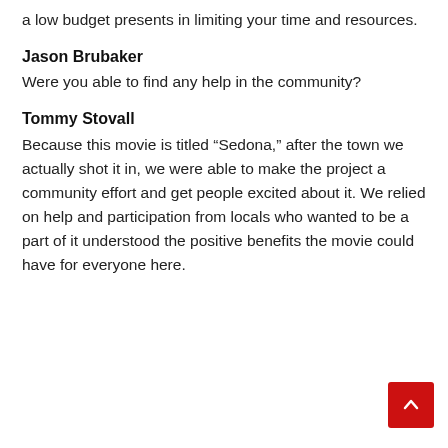a low budget presents in limiting your time and resources.
Jason Brubaker
Were you able to find any help in the community?
Tommy Stovall
Because this movie is titled “Sedona,” after the town we actually shot it in, we were able to make the project a community effort and get people excited about it. We relied on help and participation from locals who wanted to be a part of it understood the positive benefits the movie could have for everyone here.